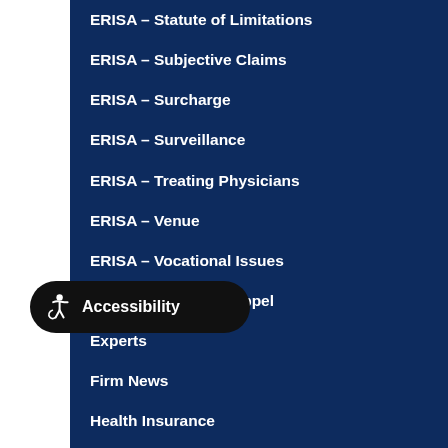ERISA – Statute of Limitations
ERISA – Subjective Claims
ERISA – Surcharge
ERISA – Surveillance
ERISA – Treating Physicians
ERISA – Venue
ERISA – Vocational Issues
ERISA – Waiver/Estoppel
Experts
Firm News
Health Insurance
... Faith
Interpretation of Policy
[Figure (illustration): Accessibility button with wheelchair icon and 'Accessibility' label in dark rounded pill shape overlay]